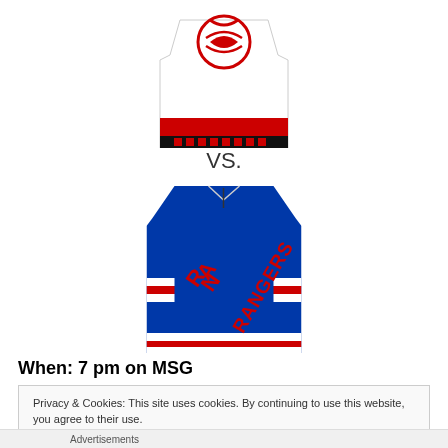[Figure (illustration): Carolina Hurricanes hockey jersey (white with red accents and Hurricanes logo), partially cropped at top]
VS.
[Figure (illustration): New York Rangers hockey jersey (blue with RANGERS written diagonally, red and white stripe on sleeves and bottom hem)]
When: 7 pm on MSG
Privacy & Cookies: This site uses cookies. By continuing to use this website, you agree to their use.
To find out more, including how to control cookies, see here: Cookie Policy
Close and accept
Advertisements